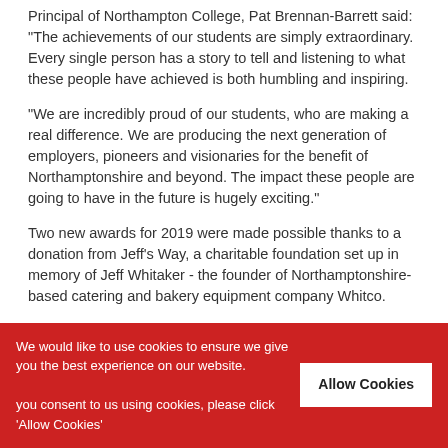Principal of Northampton College, Pat Brennan-Barrett said: "The achievements of our students are simply extraordinary. Every single person has a story to tell and listening to what these people have achieved is both humbling and inspiring.
"We are incredibly proud of our students, who are making a real difference. We are producing the next generation of employers, pioneers and visionaries for the benefit of Northamptonshire and beyond. The impact these people are going to have in the future is hugely exciting."
Two new awards for 2019 were made possible thanks to a donation from Jeff's Way, a charitable foundation set up in memory of Jeff Whitaker - the founder of Northamptonshire-based catering and bakery equipment company Whitco.
Josie Milicevic won Chef of the Year while fellow catering student Brandon Wilkinson scooped the Jeff Whitaker Award. Josie will now benefit from a placement at Raymond Blanc's Michelin-starred restaurant Le Manoir Aux Quat'Saisons while
We would like to use cookies to ensure we give you the best experience on our website. you consent to us using cookies, please click 'Allow Cookies'